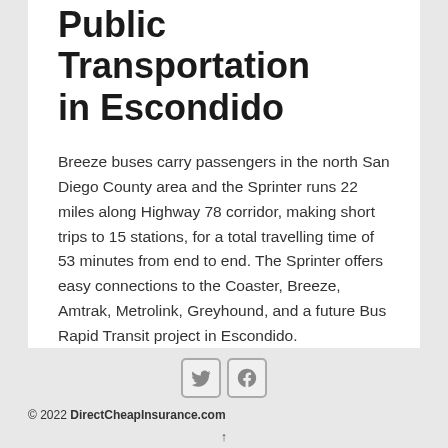Public Transportation in Escondido
Breeze buses carry passengers in the north San Diego County area and the Sprinter runs 22 miles along Highway 78 corridor, making short trips to 15 stations, for a total travelling time of 53 minutes from end to end. The Sprinter offers easy connections to the Coaster, Breeze, Amtrak, Metrolink, Greyhound, and a future Bus Rapid Transit project in Escondido.
[Figure (illustration): Twitter and Facebook social media icons side by side]
© 2022 DirectCheapInsurance.com